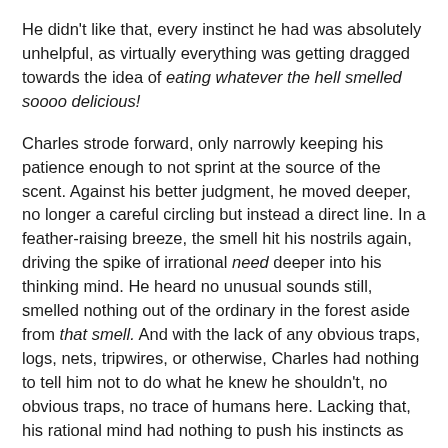He didn't like that, every instinct he had was absolutely unhelpful, as virtually everything was getting dragged towards the idea of eating whatever the hell smelled soooo delicious!
Charles strode forward, only narrowly keeping his patience enough to not sprint at the source of the scent. Against his better judgment, he moved deeper, no longer a careful circling but instead a direct line. In a feather-raising breeze, the smell hit his nostrils again, driving the spike of irrational need deeper into his thinking mind. He heard no unusual sounds still, smelled nothing out of the ordinary in the forest aside from that smell. And with the lack of any obvious traps, logs, nets, tripwires, or otherwise, Charles had nothing to tell him not to do what he knew he shouldn't, no obvious traps, no trace of humans here. Lacking that, his rational mind had nothing to push his instincts as they surged higher, an inexorable march that took control from him.
He barely forced himself to stop less than five meters away, a silent shadow cast under reaching trees. From here, he could just make out what he was looking at.